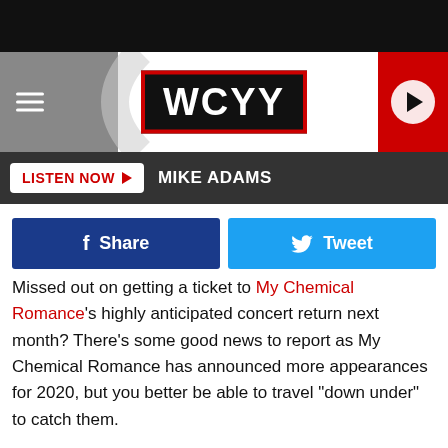[Figure (screenshot): WCYY radio station website header with logo, hamburger menu, and play button]
LISTEN NOW | MIKE ADAMS
Missed out on getting a ticket to My Chemical Romance's highly anticipated concert return next month? There's some good news to report as My Chemical Romance has announced more appearances for 2020, but you better be able to travel "down under" to catch them.
The reunited rockers announced that they will be taking part in Australia's Download festival, which will take place at the Melbourne Showgrounds on March 20th and Sydney's Parramatta Park on March 21. The festivals will also feature